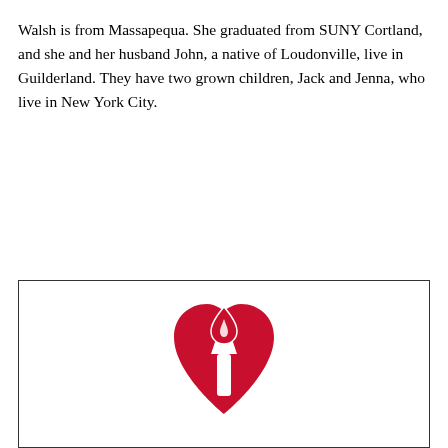Walsh is from Massapequa. She graduated from SUNY Cortland, and she and her husband John, a native of Loudonville, live in Guilderland. They have two grown children, Jack and Jenna, who live in New York City.
[Figure (logo): American Heart Association logo: a red heart with a torch/flame symbol inside, rendered in red and white.]